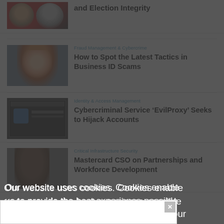[Figure (photo): Two men headshots on red/dark background, partially visible at top]
and Election Integrity
[Figure (photo): Woman with red hair smiling, blue/gray background]
Fraud Management & Cybercrime
How to Spot the Latest Tactics in Business ID Scams
[Figure (screenshot): Computer/IT security illustration screenshot]
Identity & Access Management
Cybercriminal Service ‘EvilProxy’ Seeks to Hijack Accounts
[Figure (photo): Person headshot, partially visible behind overlay]
Critical Infrastructure Security
Mastercard CSO on Partnerships and Workforce Development
Our website uses cookies. Cookies enable us to provide the best experience possible and help us understand how visitors use our website. By browsing databreachtoday.com, you agree to our use of cookies.